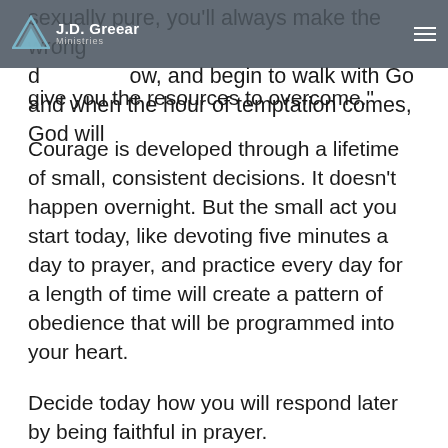J.D. Greear Ministries
sexually pure, you'll always make the wrong decision tomorrow, and begin to walk with God and when the hour of temptation comes, God will give you the resources to overcome.”
Courage is developed through a lifetime of small, consistent decisions. It doesn’t happen overnight. But the small act you start today, like devoting five minutes a day to prayer, and practice every day for a length of time will create a pattern of obedience that will be programmed into your heart.
Decide today how you will respond later by being faithful in prayer.